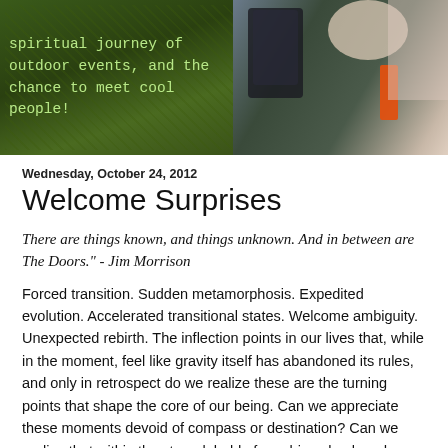[Figure (photo): Outdoor photo with green foliage background on the left showing text overlay in monospace font, and a person wearing dark clothing on the right with an orange object visible. The left side has dark green background with light green monospace text.]
Wednesday, October 24, 2012
Welcome Surprises
There are things known, and things unknown. And in between are The Doors." - Jim Morrison
Forced transition. Sudden metamorphosis. Expedited evolution. Accelerated transitional states. Welcome ambiguity. Unexpected rebirth. The inflection points in our lives that, while in the moment, feel like gravity itself has abandoned its rules, and only in retrospect do we realize these are the turning points that shape the core of our being. Can we appreciate these moments devoid of compass or destination? Can we realize that within the stranglehold of numbing shock and anxiety lies the foundational serenity to reflect, deconstruct, embrace, and explore? The Phoenix dies only to rise again, no? And most importantly, can I finally